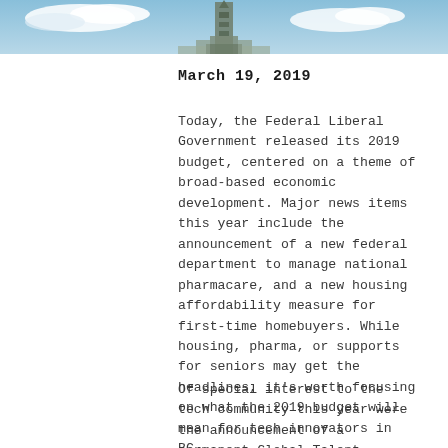[Figure (photo): Cropped photograph of a government building (Parliament tower) against a blue sky with clouds, shown as a banner strip at the top of the page.]
March 19, 2019
Today, the Federal Liberal Government released its 2019 budget, centered on a theme of broad-based economic development. Major news items this year include the announcement of a new federal department to manage national pharmacare, and a new housing affordability measure for first-time homebuyers. While housing, pharma, or supports for seniors may get the headlines, it's worth focusing on what the 2019 budget will mean for tech innovators in BC.
Of special interest to the tech community this year were the announcement of a permanent Global Talent Stream, the annual program...